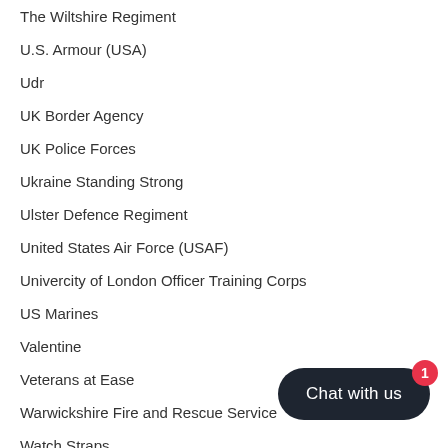The Wiltshire Regiment
U.S. Armour (USA)
Udr
UK Border Agency
UK Police Forces
Ukraine Standing Strong
Ulster Defence Regiment
United States Air Force (USAF)
Univercity of London Officer Training Corps
US Marines
Valentine
Veterans at Ease
Warwickshire Fire and Rescue Service
Watch Straps
Watches
Water Bottle Pouches &amp; Holders